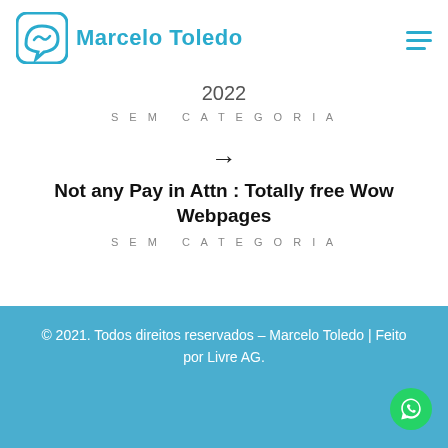[Figure (logo): Marcelo Toledo logo with chat bubble icon and blue text]
2022
SEM CATEGORIA
→
Not any Pay in Attn : Totally free Wow Webpages
SEM CATEGORIA
© 2021. Todos direitos reservados – Marcelo Toledo | Feito por Livre AG.